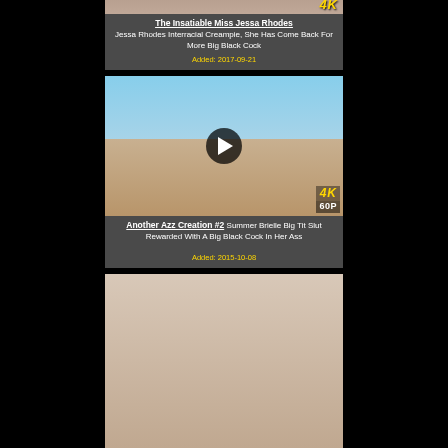[Figure (screenshot): Partial top card showing '4K' badge on thumbnail]
The Insatiable Miss Jessa Rhodes
Jessa Rhodes Interracial Creampie, She Has Come Back For More Big Black Cock
Added: 2017-09-21
[Figure (screenshot): Video thumbnail with play button and 4K 60P badge]
Another Azz Creation #2 Summer Brielle Big Tit Slut Rewarded With A Big Black Cock In Her Ass
Added: 2015-10-08
[Figure (screenshot): Partial bottom card thumbnail]